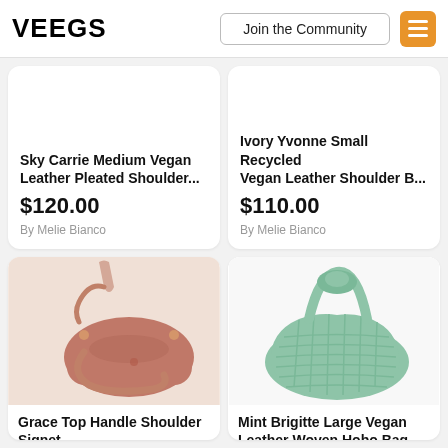VEEGS | Join the Community
Sky Carrie Medium Vegan Leather Pleated Shoulder...
$120.00
By Melie Bianco
Ivory Yvonne Small Recycled Vegan Leather Shoulder B...
$110.00
By Melie Bianco
[Figure (photo): Pink/rose top handle shoulder bag held by a person's hand against a beige background]
Grace Top Handle Shoulder Signet
[Figure (photo): Mint green large woven vegan leather hobo bag on white background]
Mint Brigitte Large Vegan Leather Woven Hobo Bag ...